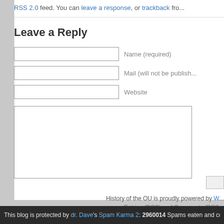RSS 2.0 feed. You can leave a response, or trackback fro...
Leave a Reply
Name (required)
Mail (will not be published)
Website
History of the OU is proudly powered by W... Entries (RSS) and Comments (RSS...
This blog is protected by dr. Dave's Spam Karma 2: 2960014 Spams eaten and counting...